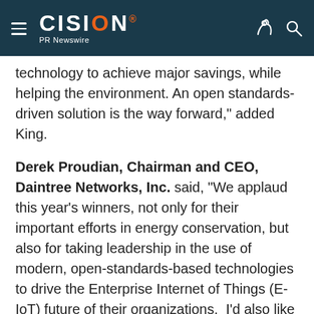CISION PR Newswire
technology to achieve major savings, while helping the environment. An open standards-driven solution is the way forward," added King.
Derek Proudian, Chairman and CEO, Daintree Networks, Inc. said, "We applaud this year's winners, not only for their important efforts in energy conservation, but also for taking leadership in the use of modern, open-standards-based technologies to drive the Enterprise Internet of Things (E-IoT) future of their organizations.  I'd also like to acknowledge all the nominees who share our passion for energy conservation and who work tirelessly to ensure the future of our planet."